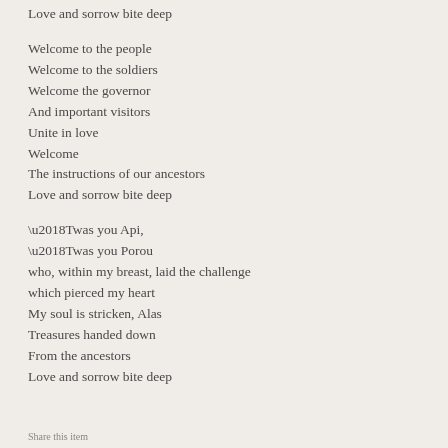Love and sorrow bite deep

Welcome to the people
Welcome to the soldiers
Welcome the governor
And important visitors
Unite in love
Welcome
The instructions of our ancestors
Love and sorrow bite deep

‘Twas you Api,
‘Twas you Porou
who, within my breast, laid the challenge
which pierced my heart
My soul is stricken, Alas
Treasures handed down
From the ancestors
Love and sorrow bite deep
Share this item